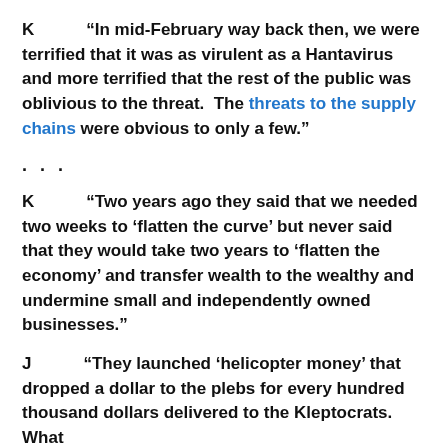K	“In mid-February way back then, we were terrified that it was as virulent as a Hantavirus and more terrified that the rest of the public was oblivious to the threat.  The threats to the supply chains were obvious to only a few.”
. . .
K	“Two years ago they said that we needed two weeks to ‘flatten the curve’ but never said that they would take two years to ‘flatten the economy’ and transfer wealth to the wealthy and undermine small and independently owned businesses.”
J	“They launched ‘helicopter money’ that dropped a dollar to the plebs for every hundred thousand dollars delivered to the Kleptocrats.  What